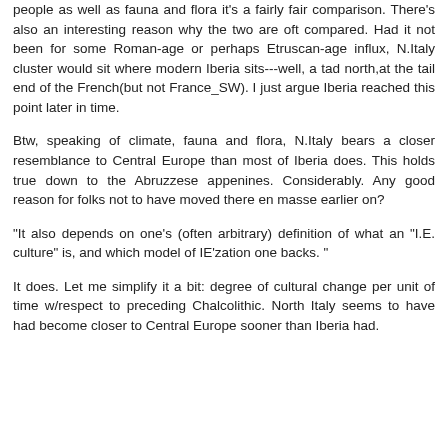people as well as fauna and flora it's a fairly fair comparison. There's also an interesting reason why the two are oft compared. Had it not been for some Roman-age or perhaps Etruscan-age influx, N.Italy cluster would sit where modern Iberia sits---well, a tad north,at the tail end of the French(but not France_SW). I just argue Iberia reached this point later in time.
Btw, speaking of climate, fauna and flora, N.Italy bears a closer resemblance to Central Europe than most of Iberia does. This holds true down to the Abruzzese appenines. Considerably. Any good reason for folks not to have moved there en masse earlier on?
"It also depends on one's (often arbitrary) definition of what an "I.E. culture" is, and which model of IE'zation one backs. "
It does. Let me simplify it a bit: degree of cultural change per unit of time w/respect to preceding Chalcolithic. North Italy seems to have had become closer to Central Europe sooner than Iberia had.